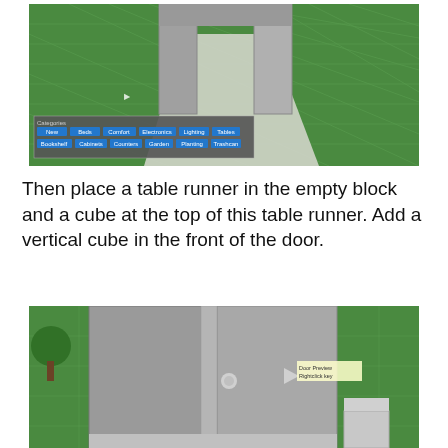[Figure (screenshot): Roblox game screenshot showing gray block structures forming a door frame on a green grass grid background, with a Categories toolbar visible showing options: New, Beds, Comfort, Electronics, Lighting, Tables, Bookshelf, Cabinets, Counters, Garden, Planting, Trashcan]
Then place a table runner in the empty block and a cube at the top of this table runner. Add a vertical cube in the front of the door.
[Figure (screenshot): Roblox game screenshot showing a close-up view of a door structure made of gray blocks on green grass, with a small cube object visible in the lower right area and a tooltip showing 'Door Preview' text]